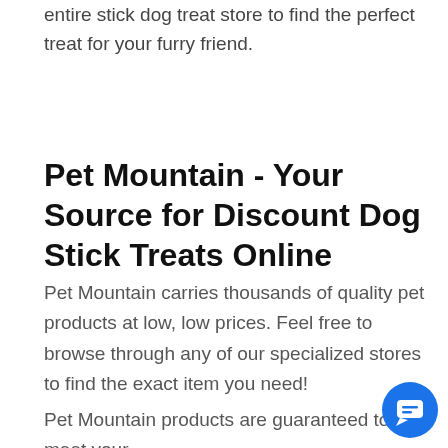entire stick dog treat store to find the perfect treat for your furry friend.
Pet Mountain - Your Source for Discount Dog Stick Treats Online
Pet Mountain carries thousands of quality pet products at low, low prices. Feel free to browse through any of our specialized stores to find the exact item you need!
Pet Mountain products are guaranteed to meet your